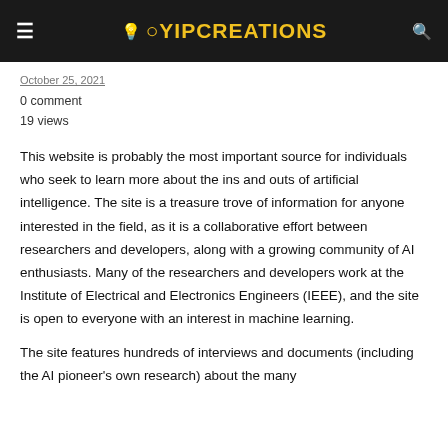YIPCREATIONS
October 25, 2021
0 comment
19 views
This website is probably the most important source for individuals who seek to learn more about the ins and outs of artificial intelligence. The site is a treasure trove of information for anyone interested in the field, as it is a collaborative effort between researchers and developers, along with a growing community of AI enthusiasts. Many of the researchers and developers work at the Institute of Electrical and Electronics Engineers (IEEE), and the site is open to everyone with an interest in machine learning.
The site features hundreds of interviews and documents (including the AI pioneer's own research) about the many